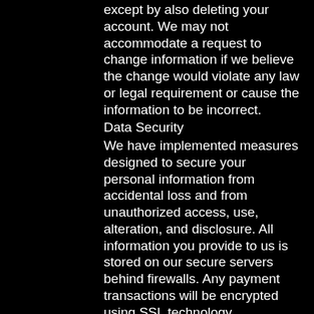except by also deleting your account. We may not accommodate a request to change information if we believe the change would violate any law or legal requirement or cause the information to be incorrect.
Data Security
We have implemented measures designed to secure your personal information from accidental loss and from unauthorized access, use, alteration, and disclosure. All information you provide to us is stored on our secure servers behind firewalls. Any payment transactions will be encrypted using SSL technology.
The safety and security of your information also depends on you. Where we have given you (or where you have chosen) a password for access to certain parts of our Website, you are responsible for keeping this password confidential. We ask you